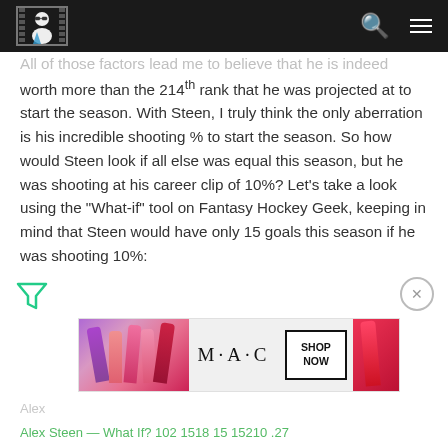Fantasy Hockey Geek site header with logo, search and menu icons
All of those factors lead me to believe that he is indeed worth more than the 214th rank that he was projected at to start the season. With Steen, I truly think the only aberration is his incredible shooting % to start the season. So how would Steen look if all else was equal this season, but he was shooting at his career clip of 10%? Let's take a look using the "What-if" tool on Fantasy Hockey Geek, keeping in mind that Steen would have only 15 goals this season if he was shooting 10%:
[Figure (photo): MAC Cosmetics advertisement showing lipsticks with SHOP NOW call to action]
Alex Steen — What If? 102 1518 15 15210 .27